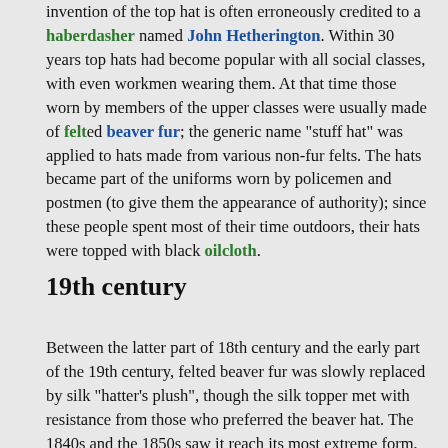invention of the top hat is often erroneously credited to a haberdasher named John Hetherington. Within 30 years top hats had become popular with all social classes, with even workmen wearing them. At that time those worn by members of the upper classes were usually made of felted beaver fur; the generic name "stuff hat" was applied to hats made from various non-fur felts. The hats became part of the uniforms worn by policemen and postmen (to give them the appearance of authority); since these people spent most of their time outdoors, their hats were topped with black oilcloth.
19th century
Between the latter part of 18th century and the early part of the 19th century, felted beaver fur was slowly replaced by silk "hatter's plush", though the silk topper met with resistance from those who preferred the beaver hat. The 1840s and the 1850s saw it reach its most extreme form, with ever-higher crowns and narrow brims. The "stovepipe hat" was a variety with mostly straight sides, while one with slightly convex sides was